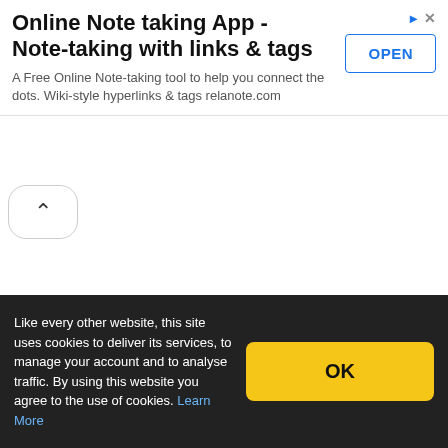Online Note taking App - Note-taking with links & tags
A Free Online Note-taking tool to help you connect the dots. Wiki-style hyperlinks & tags relanote.com
[Figure (screenshot): OPEN button with cyan ad marker and X icon]
[Figure (other): Collapse/chevron-up button]
Like every other website, this site uses cookies to deliver its services, to manage your account and to analyse traffic. By using this website you agree to the use of cookies. Learn More